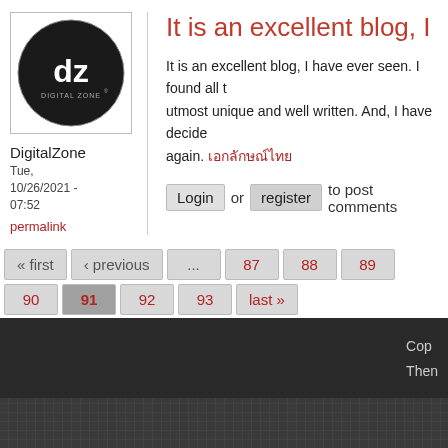[Figure (logo): DigitalZone circular logo with 'dz' text and 'DIGITAL ZONE' text on black circle]
DigitalZone
Tue, 10/26/2021 - 07:52
permalink
It is an excellent blog, I
It is an excellent blog, I have ever seen. I found all the articles to be utmost unique and well written. And, I have decided to bookmark it and visit again. เอกลักษณ์ไทย
Login or register to post comments
« first ‹ previous ... 87 88 89 90 91 92 93 last »
Powered by Drupal
Copy
Them